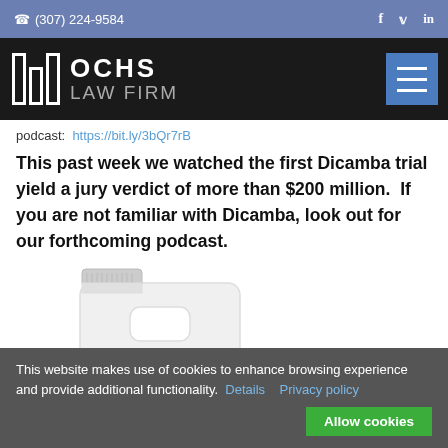(307) 224-9584  f  in
[Figure (logo): Ochs Law Firm logo with stylized bar icon and text 'OCHS LAW FIRM' on black background with hamburger menu button]
podcast:  https://bit.ly/3bQr7rB
This past week we watched the first Dicamba trial yield a jury verdict of more than $200 million.  If you are not familiar with Dicamba, look out for our forthcoming podcast.
[Figure (photo): White plastic jug/container, partial view]
This website makes use of cookies to enhance browsing experience and provide additional functionality.  Details  Privacy policy  Allow cookies